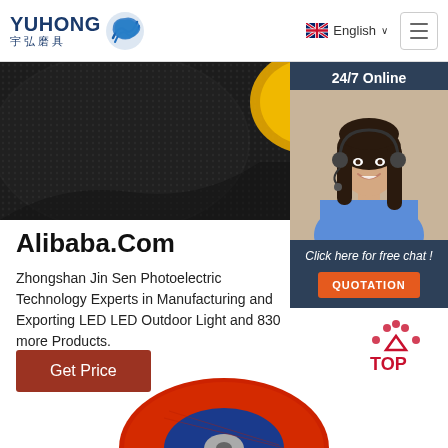[Figure (logo): Yuhong logo with Chinese characters 宇弘磨具 and blue wave icon]
English ∨
[Figure (screenshot): Navigation menu hamburger button]
[Figure (photo): Close-up photo of black abrasive grinding disc with yellow center]
[Figure (photo): 24/7 Online customer service panel with woman wearing headset, Click here for free chat, QUOTATION button]
Alibaba.Com
Zhongshan Jin Sen Photoelectric Technology Experts in Manufacturing and Exporting LED LED Outdoor Light and 830 more Products.
Get Price
[Figure (illustration): TOP button with dotted arc and red TOP text]
[Figure (photo): Partial view of red and blue abrasive cutting disc at bottom of page]